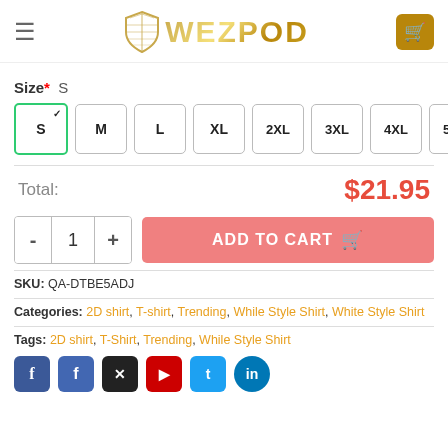WEZPOD - e-commerce product page header with logo and cart icon
Size* S
S (selected) M L XL 2XL 3XL 4XL 5XL
Total: $21.95
- 1 + ADD TO CART
SKU: QA-DTBE5ADJ
Categories: 2D shirt, T-shirt, Trending, While Style Shirt, White Style Shirt
Tags: 2D shirt, T-Shirt, Trending, While Style Shirt
[Figure (other): Social media share icons: Facebook, Facebook, dark/Twitter, YouTube, Twitter/LinkedIn, LinkedIn]